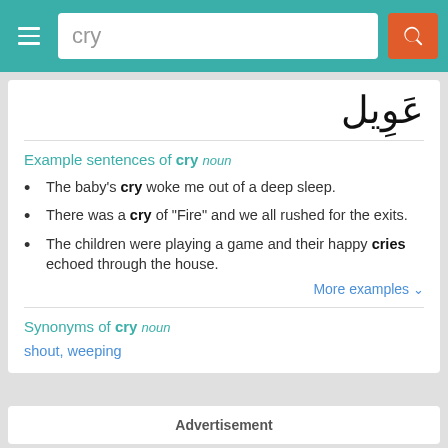cry [search bar]
عَوِيل
Example sentences of cry noun
The baby's cry woke me out of a deep sleep.
There was a cry of “Fire” and we all rushed for the exits.
The children were playing a game and their happy cries echoed through the house.
More examples ⌄
Synonyms of cry noun
shout, weeping
Advertisement